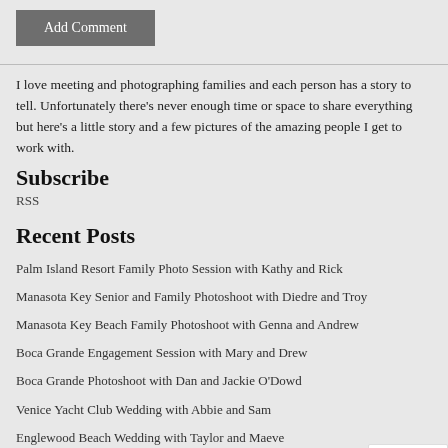Add Comment
I love meeting and photographing families and each person has a story to tell. Unfortunately there's never enough time or space to share everything but here's a little story and a few pictures of the amazing people I get to work with.
Subscribe
RSS
Recent Posts
Palm Island Resort Family Photo Session with Kathy and Rick
Manasota Key Senior and Family Photoshoot with Diedre and Troy
Manasota Key Beach Family Photoshoot with Genna and Andrew
Boca Grande Engagement Session with Mary and Drew
Boca Grande Photoshoot with Dan and Jackie O'Dowd
Venice Yacht Club Wedding with Abbie and Sam
Englewood Beach Wedding with Taylor and Maeve
Manasota Key Beach Wedding with Emily and Kevin
Boca Grande Wedding Celebration with Lexie and Christian